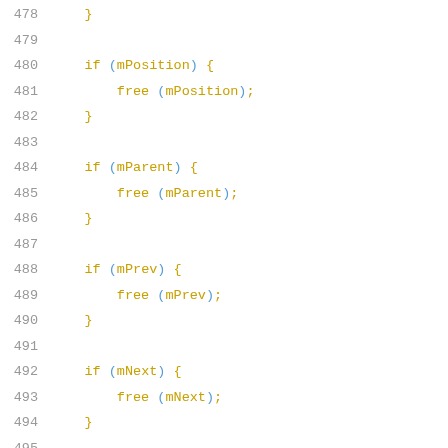[Figure (screenshot): Source code listing showing lines 478-499 of a C/C++ program. The code shows conditional free() calls for mPosition, mParent, mPrev, mNext, and mBuf variables. Line numbers are shown in gray on the left, code is shown in yellow/amber color on a white background.]